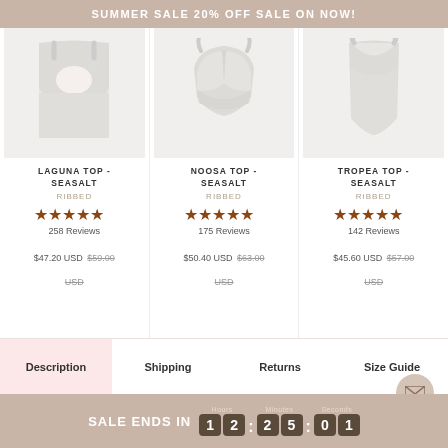SUMMER SALE 20% OFF SALE ON NOW!
[Figure (photo): Product image: Laguna Top - Seasalt, white ribbed swimwear top]
LAGUNA TOP - SEASALT
RIBBED
★★★★★
258 Reviews
$47.20 USD $59.00 USD
[Figure (photo): Product image: Noosa Top - Seasalt, white ribbed swimwear top]
NOOSA TOP - SEASALT
RIBBED
★★★★★
175 Reviews
$50.40 USD $63.00 USD
[Figure (photo): Product image: Tropea Top - Seasalt, white ribbed swimwear top]
TROPEA TOP - SEASALT
RIBBED
★★★★★
142 Reviews
$45.60 USD $57.00 USD
Description
Shipping
Returns
Size Guide
SALE ENDS IN 1 2 : 2 5 : 0 1